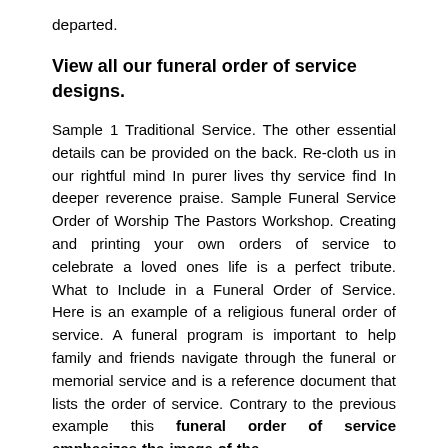departed.
View all our funeral order of service designs.
Sample 1 Traditional Service. The other essential details can be provided on the back. Re-cloth us in our rightful mind In purer lives thy service find In deeper reverence praise. Sample Funeral Service Order of Worship The Pastors Workshop. Creating and printing your own orders of service to celebrate a loved ones life is a perfect tribute. What to Include in a Funeral Order of Service. Here is an example of a religious funeral order of service. A funeral program is important to help family and friends navigate through the funeral or memorial service and is a reference document that lists the order of service. Contrary to the previous example this funeral order of service emphasizes the image of the